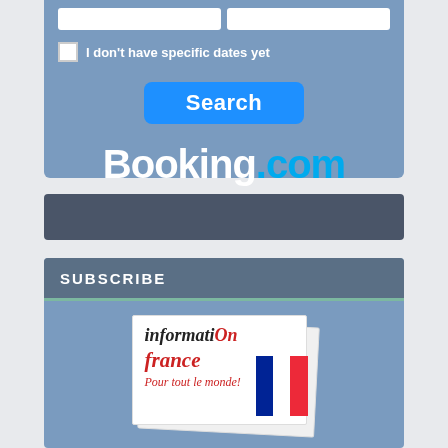[Figure (screenshot): Booking.com hotel search widget with two input boxes, a checkbox labeled 'I don't have specific dates yet', a blue Search button, and the Booking.com logo in white and cyan on a steel blue background.]
[Figure (other): Dark gray horizontal bar, likely a navigation or section separator bar.]
SUBSCRIBE
[Figure (illustration): Newsletter card illustration showing 'informatiOn france Pour tout le monde!' text with a French flag, on a light card background with a slight rotation effect suggesting stacked cards.]